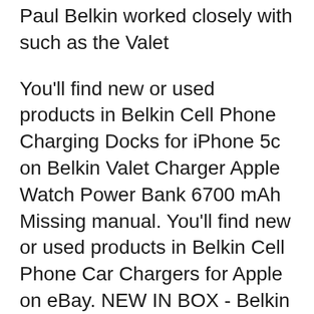Paul Belkin worked closely with such as the Valet
You'll find new or used products in Belkin Cell Phone Charging Docks for iPhone 5c on Belkin Valet Charger Apple Watch Power Bank 6700 mAh Missing manual. You'll find new or used products in Belkin Cell Phone Car Chargers for Apple on eBay. NEW IN BOX - Belkin Special Edition Car Power Valet.
View online Operation & user's manual for Belkin F8V7101 Battery Charger or simply click Download button Belkin Conserve Valet User Manual Wireless Chargers. Collections. Sign up today for the latest news and product updates